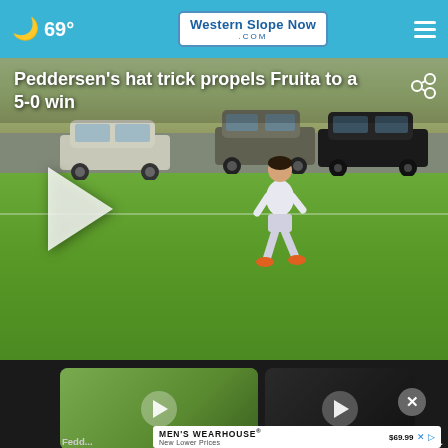🌙 69° | WesternSlopeNow.com
Peddersen's hat trick propels Fruita to a 5-0 win
[Figure (photo): Screenshot of a news website showing a soccer video player. A soccer player in white uniform runs on a green field. Cars visible in background. A large play button overlay is visible. The headline reads 'Peddersen's hat trick propels Fruita to a 5-0 win'.]
[Figure (screenshot): Thumbnail video card on left showing outdoor soccer scene with play button circle]
[Figure (screenshot): Thumbnail video card on right showing dark scene with play button circle]
Fedd... prop...
Friday...
[Figure (photo): Men's Wearhouse advertisement showing a suit-wearing figure with price $69.99 and 'New Lower Prices' tagline]